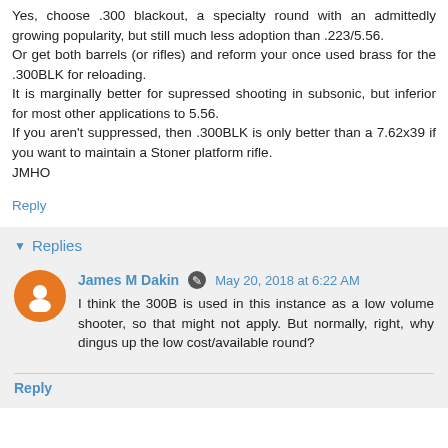Yes, choose .300 blackout, a specialty round with an admittedly growing popularity, but still much less adoption than .223/5.56.
Or get both barrels (or rifles) and reform your once used brass for the .300BLK for reloading.
It is marginally better for supressed shooting in subsonic, but inferior for most other applications to 5.56.
If you aren't suppressed, then .300BLK is only better than a 7.62x39 if you want to maintain a Stoner platform rifle.
JMHO
Reply
Replies
James M Dakin  May 20, 2018 at 6:22 AM
I think the 300B is used in this instance as a low volume shooter, so that might not apply. But normally, right, why dingus up the low cost/available round?
Reply